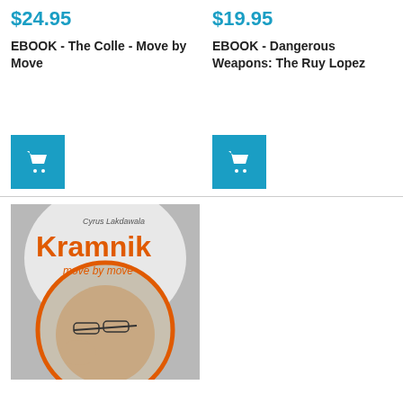$24.95
$19.95
EBOOK - The Colle - Move by Move
EBOOK - Dangerous Weapons: The Ruy Lopez
[Figure (illustration): Blue shopping cart button icon for The Colle - Move by Move]
[Figure (illustration): Blue shopping cart button icon for Dangerous Weapons: The Ruy Lopez]
[Figure (photo): Book cover for Kramnik Move by Move by Cyrus Lakdawala, featuring a man with glasses thinking over a chess board, with an orange circle frame and orange text.]